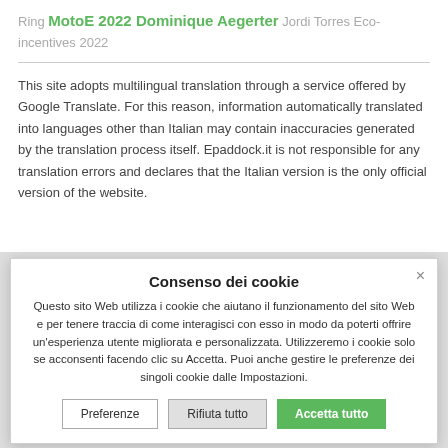Ring MotoE 2022 Dominique Aegerter Jordi Torres Eco-incentives 2022
This site adopts multilingual translation through a service offered by Google Translate. For this reason, information automatically translated into languages other than Italian may contain inaccuracies generated by the translation process itself. Epaddock.it is not responsible for any translation errors and declares that the Italian version is the only official version of the website.
Consenso dei cookie
Questo sito Web utilizza i cookie che aiutano il funzionamento del sito Web e per tenere traccia di come interagisci con esso in modo da poterti offrire un'esperienza utente migliorata e personalizzata. Utilizzeremo i cookie solo se acconsenti facendo clic su Accetta. Puoi anche gestire le preferenze dei singoli cookie dalle Impostazioni.